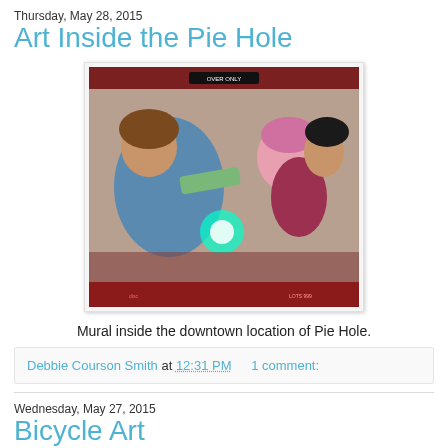Thursday, May 28, 2015
Art Inside the Pie Hole
[Figure (photo): Mural inside the downtown location of Pie Hole. Anime-style artwork showing two characters in dynamic action poses with glowing light effects.]
Mural inside the downtown location of Pie Hole.
Debbie Courson Smith at 12:31 PM    1 comment:
Wednesday, May 27, 2015
Bicycle Art